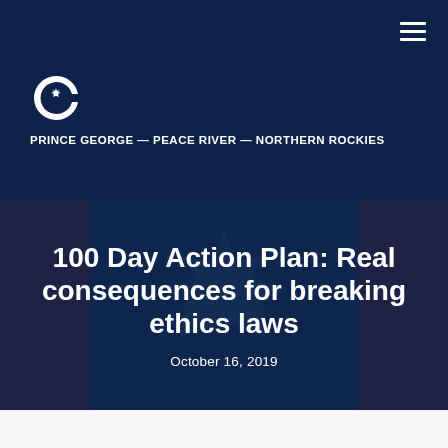[Figure (logo): Conservative Party of Canada logo — stylized C with maple leaf]
PRINCE GEORGE — PEACE RIVER — NORTHERN ROCKIES
100 Day Action Plan: Real consequences for breaking ethics laws
October 16, 2019